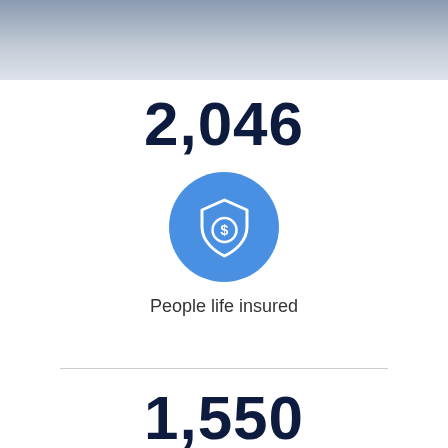[Figure (photo): Partial cropped photo of a person's head/hair at top of page]
2,046
[Figure (illustration): Blue circle icon with a shield and dollar sign symbol representing life insurance]
People life insured
1,550
[Figure (illustration): Partial blue circle icon at bottom of page]